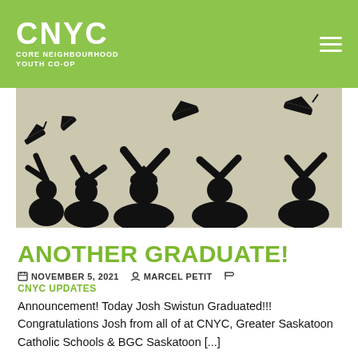CNYC CORE NEIGHBOURHOOD YOUTH CO-OP
[Figure (illustration): Black silhouette illustration of graduates tossing mortarboard caps in the air, celebrating graduation]
ANOTHER GRADUATE!
NOVEMBER 5, 2021   MARCEL PETIT
CNYC UPDATES
Announcement! Today Josh Swistun Graduated!!! Congratulations Josh from all of at CNYC, Greater Saskatoon Catholic Schools & BGC Saskatoon [...]